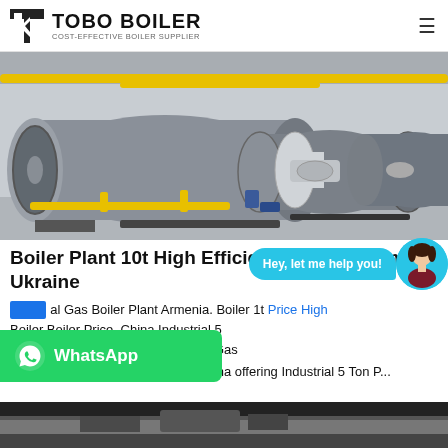TOBO BOILER — COST-EFFECTIVE BOILER SUPPLIER
[Figure (photo): Industrial gas boiler plant showing two large horizontal cylindrical boilers with yellow piping in a factory setting]
Boiler Plant 10t High Efficiency Fully Automatic Ukraine
al Gas Boiler Plant Armenia. Boiler 1t Price High Boiler Boiler Price. China Industrial 5 ler Price Steam Boiler Water Boiler Gas Boiler manufacturer / supplier in China offering Industrial 5 Ton P...
[Figure (photo): Bottom strip showing partial view of industrial boiler equipment]